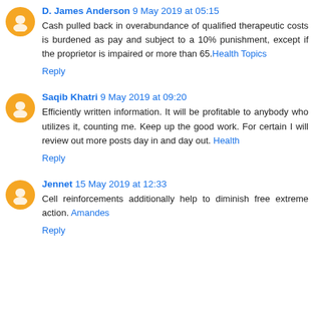D. James Anderson 9 May 2019 at 05:15
Cash pulled back in overabundance of qualified therapeutic costs is burdened as pay and subject to a 10% punishment, except if the proprietor is impaired or more than 65. Health Topics
Reply
Saqib Khatri 9 May 2019 at 09:20
Efficiently written information. It will be profitable to anybody who utilizes it, counting me. Keep up the good work. For certain I will review out more posts day in and day out. Health
Reply
Jennet 15 May 2019 at 12:33
Cell reinforcements additionally help to diminish free extreme action. Amandes
Reply